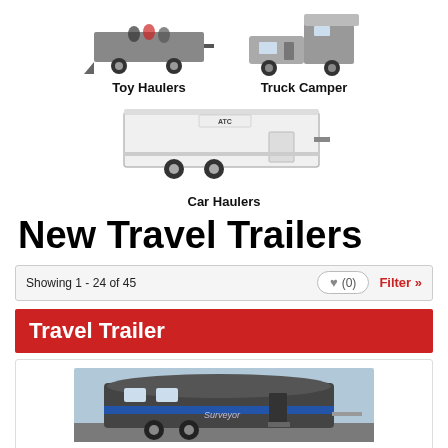[Figure (photo): Toy Hauler trailer with motorcycles on ramp]
Toy Haulers
[Figure (photo): Truck Camper mounted on truck]
Truck Camper
[Figure (photo): White enclosed Car Hauler trailer]
Car Haulers
New Travel Trailers
Showing 1 - 24 of 45
♥ (0)
Filter »
Travel Trailer
[Figure (photo): Travel trailer parked outside dealership]